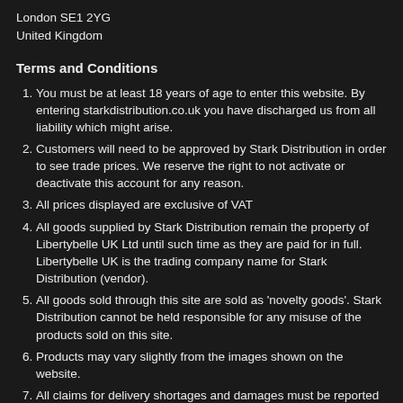London SE1 2YG
United Kingdom
Terms and Conditions
You must be at least 18 years of age to enter this website. By entering starkdistribution.co.uk you have discharged us from all liability which might arise.
Customers will need to be approved by Stark Distribution in order to see trade prices. We reserve the right to not activate or deactivate this account for any reason.
All prices displayed are exclusive of VAT
All goods supplied by Stark Distribution remain the property of Libertybelle UK Ltd until such time as they are paid for in full. Libertybelle UK is the trading company name for Stark Distribution (vendor).
All goods sold through this site are sold as 'novelty goods'. Stark Distribution cannot be held responsible for any misuse of the products sold on this site.
Products may vary slightly from the images shown on the website.
All claims for delivery shortages and damages must be reported within 72 hours from delivery.
Libertybelle UK is the trading name of Stark Distribution and will show on invoices and receipts.